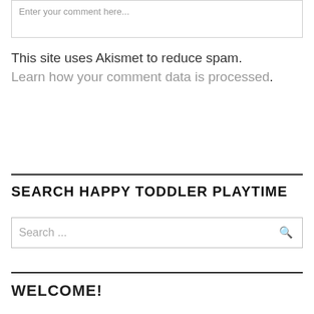Enter your comment here...
This site uses Akismet to reduce spam. Learn how your comment data is processed.
SEARCH HAPPY TODDLER PLAYTIME
Search ...
WELCOME!